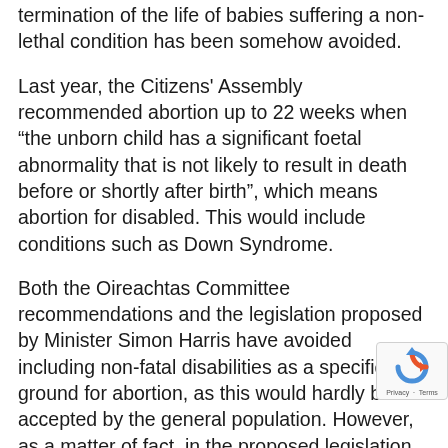termination of the life of babies suffering a non-lethal condition has been somehow avoided.
Last year, the Citizens' Assembly recommended abortion up to 22 weeks when "the unborn child has a significant foetal abnormality that is not likely to result in death before or shortly after birth", which means abortion for disabled. This would include conditions such as Down Syndrome.
Both the Oireachtas Committee recommendations and the legislation proposed by Minister Simon Harris have avoided including non-fatal disabilities as a specific ground for abortion, as this would hardly be accepted by the general population. However, as a matter of fact, in the proposed legislation there is nothing to prevent the abortion of a baby suffering from abnormality, if detected before 12 week gesta... but also, if the condition has an impact of the